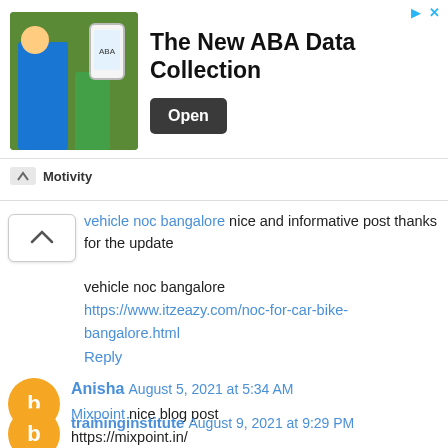[Figure (screenshot): Advertisement banner for 'The New ABA Data Collection' by Motivity app with Open button]
vehicle noc bangalore nice and informative post thanks for the update
vehicle noc bangalore
https://www.itzeazy.com/noc-for-car-bike-bangalore.html
Reply
Anisha August 5, 2021 at 5:34 AM
Mixpoint nice blog post
https://mixpoint.in/
Mixpoint
Reply
traininginstitute August 9, 2021 at 9:29 PM